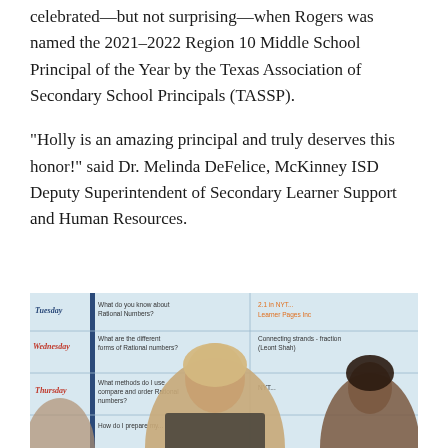celebrated—but not surprising—when Rogers was named the 2021–2022 Region 10 Middle School Principal of the Year by the Texas Association of Secondary School Principals (TASSP).
"Holly is an amazing principal and truly deserves this honor!" said Dr. Melinda DeFelice, McKinney ISD Deputy Superintendent of Secondary Learner Support and Human Resources.
[Figure (photo): Photo of a classroom whiteboard showing a weekly schedule grid with Tuesday, Wednesday, and Thursday rows and lesson content in cells, with a smiling woman and another person visible in the foreground.]